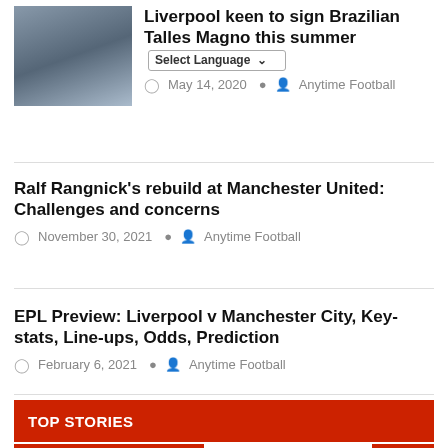[Figure (photo): Photo of football/soccer players in white uniforms]
Liverpool keen to sign Brazilian Talles Magno this summer
May 14, 2020   Anytime Football
Ralf Rangnick's rebuild at Manchester United: Challenges and concerns
November 30, 2021   Anytime Football
EPL Preview: Liverpool v Manchester City, Key-stats, Line-ups, Odds, Prediction
February 6, 2021   Anytime Football
TOP STORIES
BUNDESLIGA